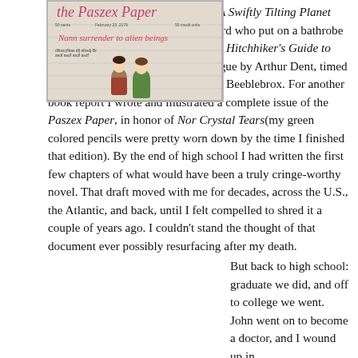L'Engle's time- and space-bending A Swiftly Tilting Planet was a revelation to me. I was the nerd who put on a bathrobe and performed a book report on The Hitchhiker's Guide to the Galaxy in the form of a monologue by Arthur Dent, timed to pre-taped responses from Zaphod Beeblebrox. For another book report I wrote and illustrated a complete issue of the Paszex Paper, in honor of Nor Crystal Tears(my green colored pencils were pretty worn down by the time I finished that edition). By the end of high school I had written the first few chapters of what would have been a truly cringe-worthy novel. That draft moved with me for decades, across the U.S., the Atlantic, and back, until I felt compelled to shred it a couple of years ago. I couldn't stand the thought of that document ever possibly resurfacing after my death.
[Figure (photo): Photo of a hand-drawn student newspaper called 'the Paszex Paper' with handwritten text including 'Nann surrender to alien beings' and an illustration of two figures.]
But back to high school: graduate we did, and off to college we went. John went on to become a doctor, and I wound up in